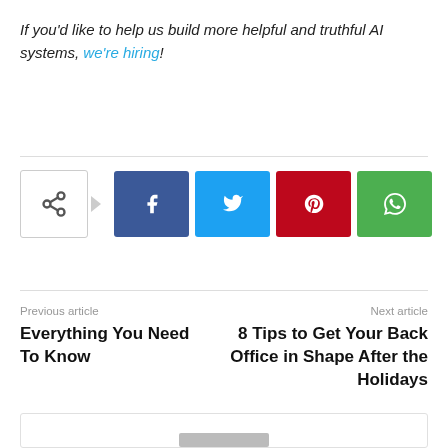If you'd like to help us build more helpful and truthful AI systems, we're hiring!
[Figure (other): Social share buttons: share icon, Facebook, Twitter, Pinterest, WhatsApp]
Previous article
Everything You Need To Know
Next article
8 Tips to Get Your Back Office in Shape After the Holidays